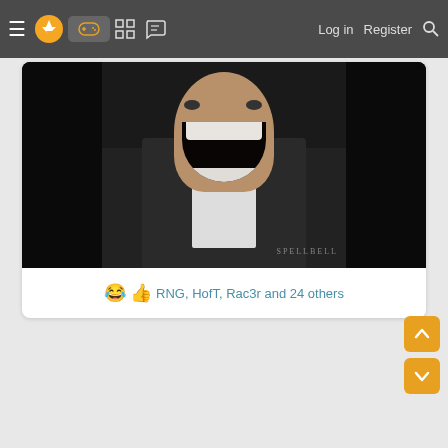Navigation bar with hamburger menu, logo, gamepad icon (active), grid icon, chat icon, Log in, Register, Search
[Figure (screenshot): Dark screenshot showing a person with wide open mouth (screaming/laughing), wearing a suit. Watermark text 'SPELLBELL' visible in bottom right corner.]
😂 👍 RNG, HofT, Rac3r and 24 others